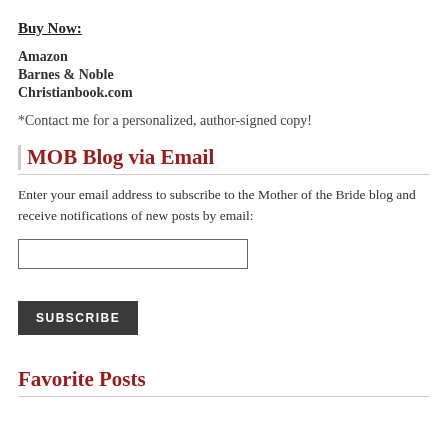Buy Now:
Amazon
Barnes & Noble
Christianbook.com
*Contact me for a personalized, author-signed copy!
MOB Blog via Email
Enter your email address to subscribe to the Mother of the Bride blog and receive notifications of new posts by email:
Favorite Posts